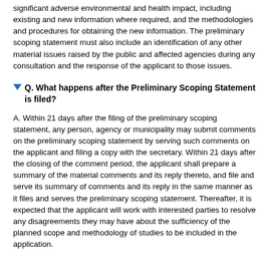significant adverse environmental and health impact, including existing and new information where required, and the methodologies and procedures for obtaining the new information. The preliminary scoping statement must also include an identification of any other material issues raised by the public and affected agencies during any consultation and the response of the applicant to those issues.
Q. What happens after the Preliminary Scoping Statement is filed?
A. Within 21 days after the filing of the preliminary scoping statement, any person, agency or municipality may submit comments on the preliminary scoping statement by serving such comments on the applicant and filing a copy with the secretary. Within 21 days after the closing of the comment period, the applicant shall prepare a summary of the material comments and its reply thereto, and file and serve its summary of comments and its reply in the same manner as it files and serves the preliminary scoping statement. Thereafter, it is expected that the applicant will work with interested parties to resolve any disagreements they may have about the sufficiency of the planned scope and methodology of studies to be included in the application.